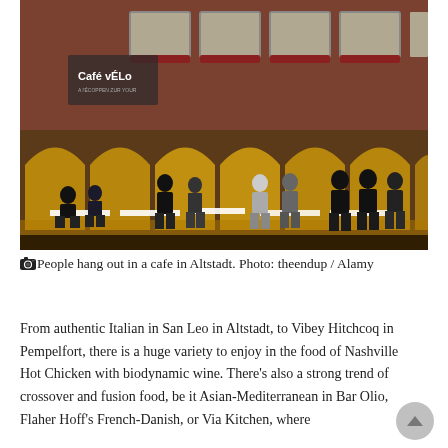[Figure (photo): People hanging out in a cafe in Altstadt. A brick building with arched yellow-lit openings, windows above, and silhouettes of people sitting and standing at white tables in the foreground. A 'Café Vélo' watermark/sign is visible on the left side.]
📷People hang out in a cafe in Altstadt. Photo: theendup / Alamy
From authentic Italian in San Leo in Altstadt, to Vibey Hitchcoq in Pempelfort, there is a huge variety to enjoy in the food of Nashville Hot Chicken with biodynamic wine. There's also a strong trend of crossover and fusion food, be it Asian-Mediterranean in Bar Olio, Flaher Hoff's French-Danish, or Via Kitchen, where